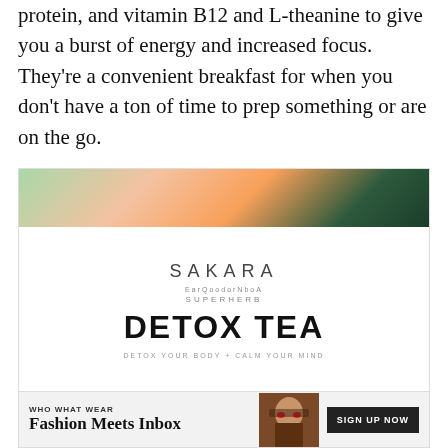protein, and vitamin B12 and L-theanine to give you a burst of energy and increased focus. They're a convenient breakfast for when you don't have a ton of time to prep something or are on the go.
[Figure (advertisement): Sakara Superherb Detox Tea advertisement with colorful fruit/botanical banner at top and 'Who What Wear - Fashion Meets Inbox - Sign Up Now' banner at bottom]